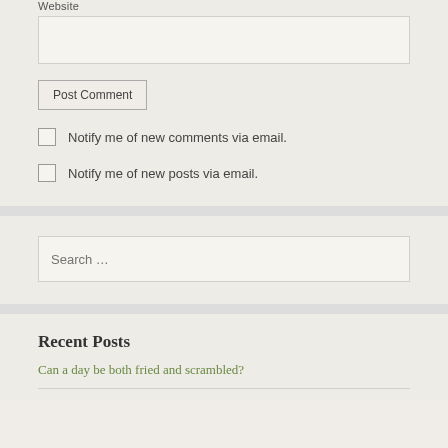Website
Post Comment
Notify me of new comments via email.
Notify me of new posts via email.
Search …
Recent Posts
Can a day be both fried and scrambled?